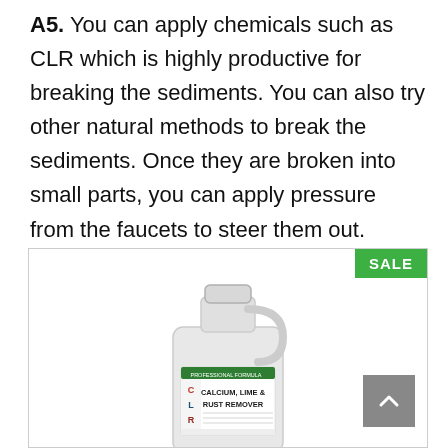A5. You can apply chemicals such as CLR which is highly productive for breaking the sediments. You can also try other natural methods to break the sediments. Once they are broken into small parts, you can apply pressure from the faucets to steer them out.
[Figure (photo): A large white jug of CLR Pro Calcium, Lime & Rust Remover with a green label, shown in a product listing box with a green SALE badge in the top right corner and a grey scroll-up button in the bottom right corner.]